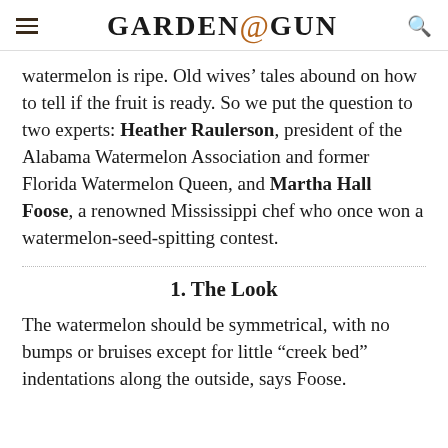GARDEN & GUN
watermelon is ripe. Old wives' tales abound on how to tell if the fruit is ready. So we put the question to two experts: Heather Raulerson, president of the Alabama Watermelon Association and former Florida Watermelon Queen, and Martha Hall Foose, a renowned Mississippi chef who once won a watermelon-seed-spitting contest.
1. The Look
The watermelon should be symmetrical, with no bumps or bruises except for little “creek bed” indentations along the outside, says Foose.